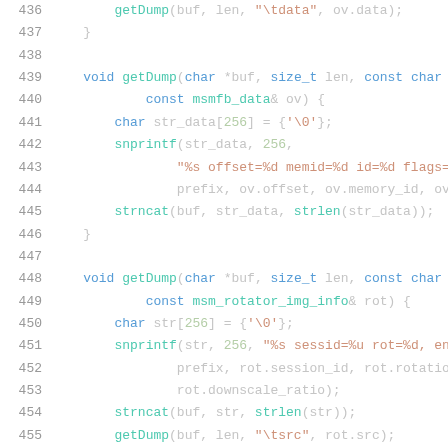[Figure (screenshot): Source code listing in a dark-themed editor showing C++ code lines 436-456. Functions getDump with various parameter types including msmfb_data and msm_rotator_img_info, using snprintf and strncat calls.]